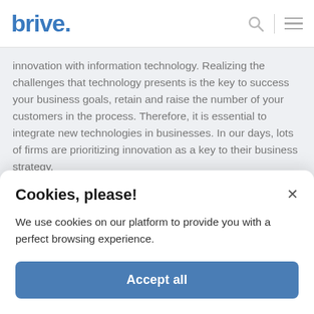brive.
innovation with information technology. Realizing the challenges that technology presents is the key to success your business goals, retain and raise the number of your customers in the process. Therefore, it is essential to integrate new technologies in businesses. In our days, lots of firms are prioritizing innovation as a key to their business strategy.
Therefore, companies and their directors must understand technology, build their technical proficiency, implement technologies that matter to them and gain an advantage in…
More
Cookies, please!
We use cookies on our platform to provide you with a perfect browsing experience.
Accept all